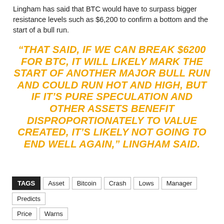Lingham has said that BTC would have to surpass bigger resistance levels such as $6,200 to confirm a bottom and the start of a bull run.
“THAT SAID, IF WE CAN BREAK $6200 FOR BTC, IT WILL LIKELY MARK THE START OF ANOTHER MAJOR BULL RUN AND COULD RUN HOT AND HIGH, BUT IF IT’S PURE SPECULATION AND OTHER ASSETS BENEFIT DISPROPORTIONATELY TO VALUE CREATED, IT’S LIKELY NOT GOING TO END WELL AGAIN,” LINGHAM SAID.
TAGS: Asset | Bitcoin | Crash | Lows | Manager | Predicts | Price | Warns